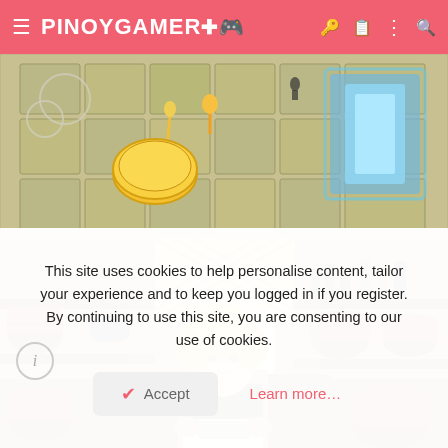PINOYGAMER
[Figure (screenshot): Game screenshot showing a top-down view of a puzzle or exploration area with golden coins/items and a blue glowing structure on stone tiles]
[Figure (screenshot): Game screenshot showing an anime-style blonde character behind a tavern counter, with wooden barrels and shelves with bottles in the background]
This site uses cookies to help personalise content, tailor your experience and to keep you logged in if you register. By continuing to use this site, you are consenting to our use of cookies.